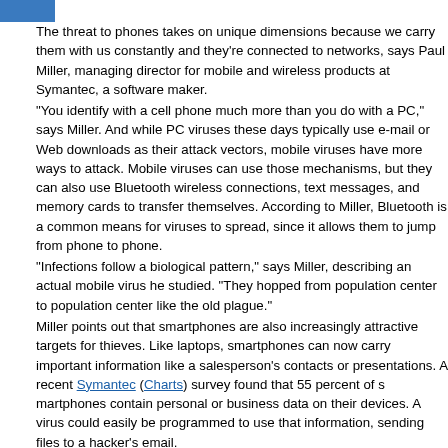The threat to phones takes on unique dimensions because we carry them with us constantly and they're connected to networks, says Paul Miller, managing director for mobile and wireless products at Symantec, a software maker.
"You identify with a cell phone much more than you do with a PC," says Miller. And while PC viruses these days typically use e-mail or Web downloads as their attack vectors, mobile viruses have more ways to attack. Mobile viruses can use those mechanisms, but they can also use Bluetooth wireless connections, text messages, and memory cards to transfer themselves. According to Miller, Bluetooth is a common means for viruses to spread, since it allows them to jump from phone to phone.
"Infections follow a biological pattern," says Miller, describing an actual mobile virus he studied. "They hopped from population center to population center like the old plague."
Miller points out that smartphones are also increasingly attractive targets for thieves. Like laptops, smartphones can now carry important information like a salesperson's contacts or presentations. A recent Symantec (Charts) survey found that 55 percent of smartphones contain personal or business data on their devices. A virus could easily be programmed to use that information, sending files to a hacker's email.
Seeking protection
There are some simple steps that smartphone users can take to lessen the threat, says Coursen.
First, if your phone has Bluetooth and you're not using it with a wireless headset, turn Bluetooth off. If you do need to use Bluetooth, set it to "nondiscoverable," which means it won't broadcast the fact that it's accepting Bluetooth connections, which is an open invitation to attack.
Second, if there's antivirus software available for your phone, download it and use it. There is mobile antivirus software on some phones, and both Kaspersky Lab and Symantec, antivirus makers, offer software for a wide range of models.
Lastly, accept files sent to your phone through email or text messages with